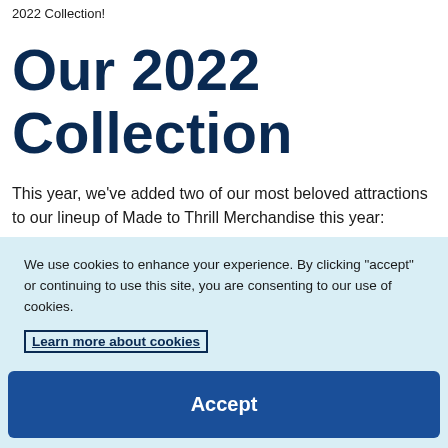2022 Collection!
Our 2022 Collection
This year, we've added two of our most beloved attractions to our lineup of Made to Thrill Merchandise this year:
We use cookies to enhance your experience. By clicking "accept" or continuing to use this site, you are consenting to our use of cookies.
Learn more about cookies
Accept